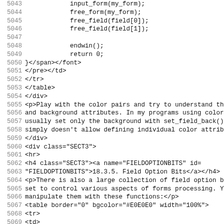Source code listing lines 5043-5075 showing HTML/C code for forms processing documentation